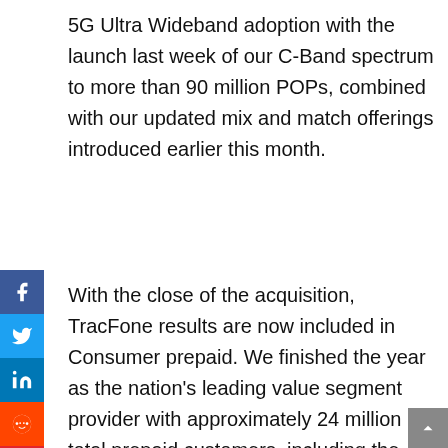5G Ultra Wideband adoption with the launch last week of our C-Band spectrum to more than 90 million POPs, combined with our updated mix and match offerings introduced earlier this month.
With the close of the acquisition, TracFone results are now included in Consumer prepaid. We finished the year as the nation's leading value segment provider with approximately 24 million total prepaid customers, including the approximately 20 million customers acquired from TracFone.
For the quarter, prepaid net customer losses totaled 85,000, which included 52,000 net losses on the TracFone businesses stemming from stronger demand for postpaid plans due to promos in that segment, coupled with handset supply constraints.